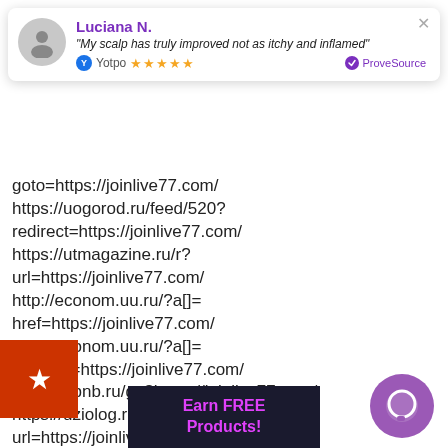[Figure (screenshot): ProveSource/Yotpo review popup notification showing user Luciana N. with quote 'My scalp has truly improved not as itchy and inflamed', 5-star Yotpo rating, and ProveSource badge. Background shows a list of redirect URLs containing joinlive77.com. An orange star button, purple chat bubble, and 'Earn FREE Products!' banner overlay the page.]